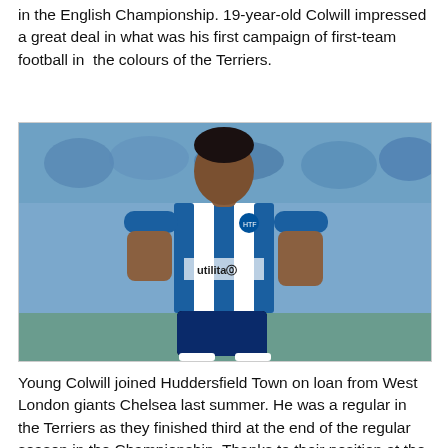in the English Championship. 19-year-old Colwill impressed a great deal in what was his first campaign of first-team football in  the colours of the Terriers.
[Figure (photo): Young footballer Levi Colwill wearing a blue and white striped Huddersfield Town kit with Utilita sponsor, in action on the pitch with crowd blurred in background.]
Young Colwill joined Huddersfield Town on loan from West London giants Chelsea last summer. He was a regular in the Terriers as they finished third at the end of the regular season in the Championship. Thanks to their position at the end of the regular season, Colwill and Huddersfield Town qualified for the Championship play-offs alongside Nottingham Forest. Last...